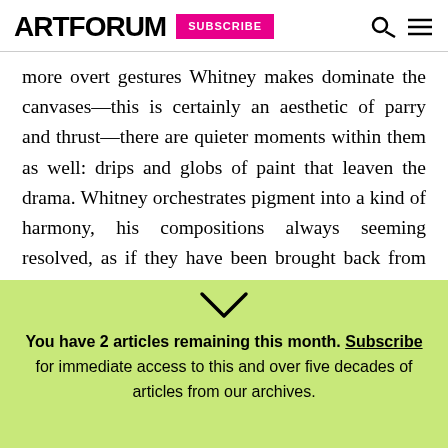ARTFORUM | SUBSCRIBE
more overt gestures Whitney makes dominate the canvases—this is certainly an aesthetic of parry and thrust—there are quieter moments within them as well: drips and globs of paint that leaven the drama. Whitney orchestrates pigment into a kind of harmony, his compositions always seeming resolved, as if they have been brought back from the edge of dissonance into something more contemplative. Even a few of the more predictable aspects of his
You have 2 articles remaining this month. Subscribe for immediate access to this and over five decades of articles from our archives.